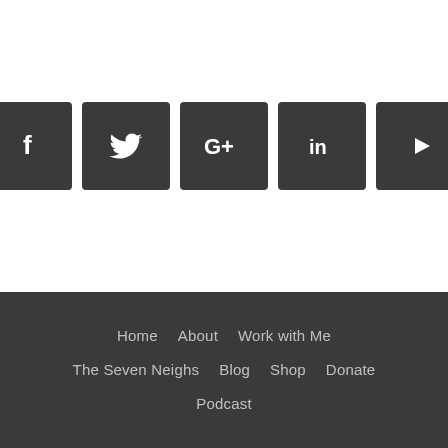[Figure (other): Row of five dark square social media icon buttons: Facebook (f), Twitter (bird), Google+ (G+), LinkedIn (in), YouTube (play button)]
Home · About · Work with Me
The Seven Neighs · Blog · Shop · Donate
Podcast